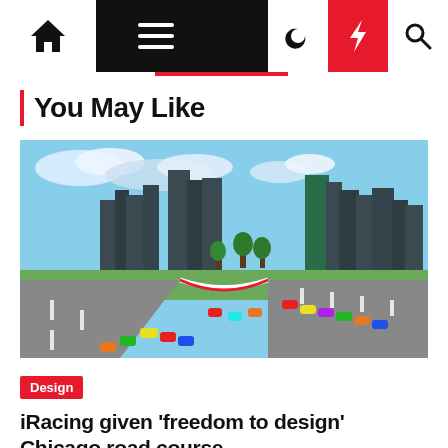Navigation bar with home, menu, moon, bolt, and search icons
You May Like
[Figure (screenshot): Aerial view of an iRacing simulation showing a road course through a city, with multiple colourful race cars on track and a skyline of skyscrapers in the background.]
Design
iRacing given ‘freedom to design’ Chicago road course